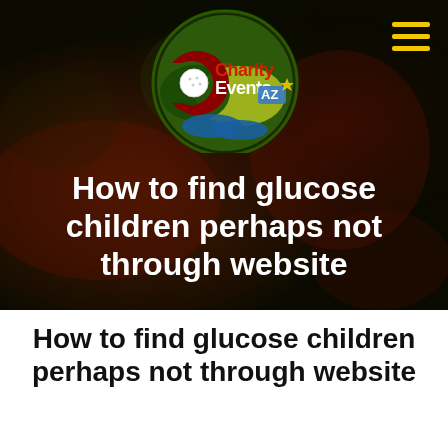[Figure (logo): Charity Events AZ logo — circular green golf course logo with a large C, golf ball, hands, and text 'Charity Events AZ']
[Figure (other): Three-line hamburger menu icon in yellow/gold color in top-right corner]
How to find glucose children perhaps not through website
How to find glucose children perhaps not through website